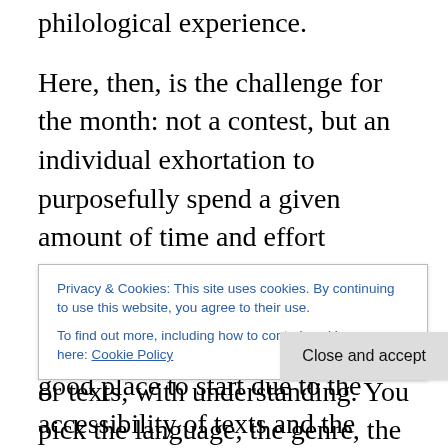philological experience.
Here, then, is the challenge for the month: not a contest, but an individual exhortation to purposefully spend a given amount of time and effort moving — or more picturesquely, plowing, sailing, crunching, &c. — through a text or texts, with understanding. You pick the language, the genre, the text(s), the length. The unique thing is to read carefully more than you might normally do for this month. It might be an opportunity to work especially hard on a language you're now closely involved with, or it might be an opportunity to return to a language you've not read in a
Privacy & Cookies: This site uses cookies. By continuing to use this website, you agree to their use.
To find out more, including how to control cookies, see here: Cookie Policy
Close and accept
good place to start due to the accessibility of texts and the